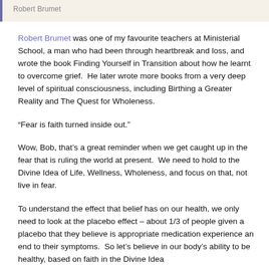Robert Brumet
Robert Brumet was one of my favourite teachers at Ministerial School, a man who had been through heartbreak and loss, and wrote the book Finding Yourself in Transition about how he learnt to overcome grief.  He later wrote more books from a very deep level of spiritual consciousness, including Birthing a Greater Reality and The Quest for Wholeness.
“Fear is faith turned inside out.”
Wow, Bob, that’s a great reminder when we get caught up in the fear that is ruling the world at present.  We need to hold to the Divine Idea of Life, Wellness, Wholeness, and focus on that, not live in fear.
To understand the effect that belief has on our health, we only need to look at the placebo effect – about 1/3 of people given a placebo that they believe is appropriate medication experience an end to their symptoms.  So let’s believe in our body’s ability to be healthy, based on faith in the Divine Idea